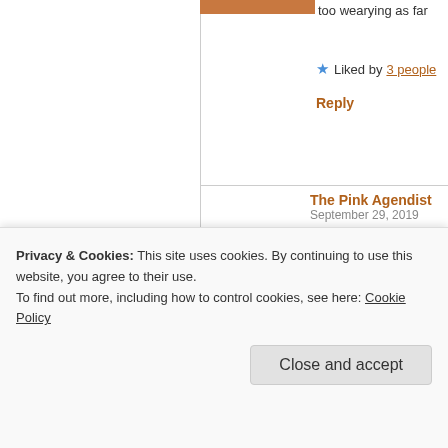too wearying as far
Liked by 3 people
Reply
The Pink Agendist
September 29, 2019
I will! Ea
[Figure (photo): Portrait photo of a man with short dark hair against a light background]
Liked
Reply
lanie belluz
September 28, 2019
I'm so sorry for yo stroke. Maya looks
[Figure (photo): Partial image with blue and orange colors, possibly an avatar or thumbnail]
Privacy & Cookies: This site uses cookies. By continuing to use this website, you agree to their use.
To find out more, including how to control cookies, see here: Cookie Policy
Close and accept